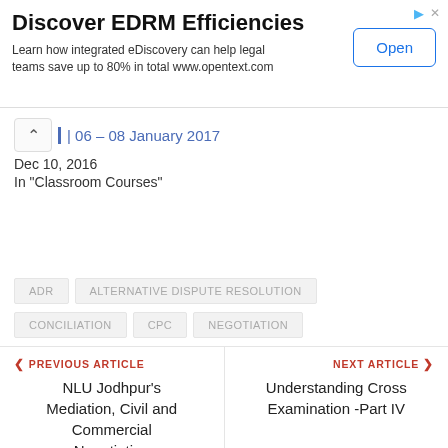[Figure (other): Advertisement banner: 'Discover EDRM Efficiencies' with Open button]
| 06 – 08 January 2017
Dec 10, 2016
In "Classroom Courses"
ADR
ALTERNATIVE DISPUTE RESOLUTION
CONCILIATION
CPC
NEGOTIATION
PREVIOUS ARTICLE
NLU Jodhpur's Mediation, Civil and Commercial Negotiation Certificate Training
NEXT ARTICLE
Understanding Cross Examination -Part IV